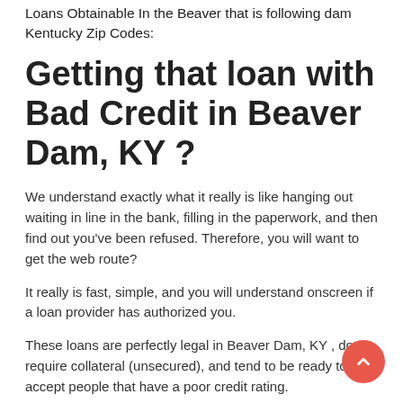Loans Obtainable In the Beaver that is following dam Kentucky Zip Codes:
Getting that loan with Bad Credit in Beaver Dam, KY ?
We understand exactly what it really is like hanging out waiting in line in the bank, filling in the paperwork, and then find out you've been refused. Therefore, you will want to get the web route?
It really is fast, simple, and you will understand onscreen if a loan provider has authorized you.
These loans are perfectly legal in Beaver Dam, KY , don't require collateral (unsecured), and tend to be ready to accept people that have a poor credit rating.
In addition, our handy loan connection device means you do